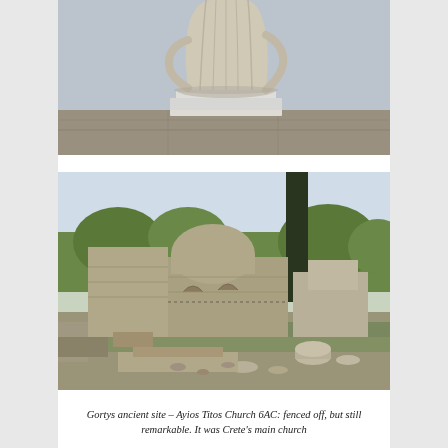[Figure (photo): A marble statue of a robed figure (headless), displayed on a white pedestal in a museum or archaeological site setting. The stone floor is visible behind the pedestal.]
[Figure (photo): Gortys ancient site showing the Ayios Titos Church (6th century AC), a Byzantine stone church ruins with a domed apse, surrounded by ancient stone ruins, scattered column drums, and cypress trees in the background.]
Gortys ancient site – Ayios Titos Church 6AC: fenced off, but still remarkable. It was Crete's main church